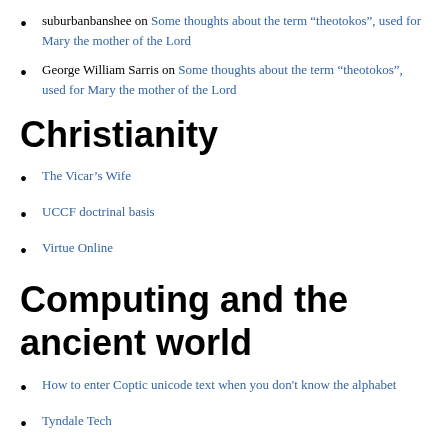Dale Lichtblau on Some thoughts about the term “theotokos”, used for Mary the mother of the Lord
suburbanbanshee on Some thoughts about the term “theotokos”, used for Mary the mother of the Lord
George William Sarris on Some thoughts about the term “theotokos”, used for Mary the mother of the Lord
Christianity
The Vicar’s Wife
UCCF doctrinal basis
Virtue Online
Computing and the ancient world
How to enter Coptic unicode text when you don't know the alphabet
Tyndale Tech